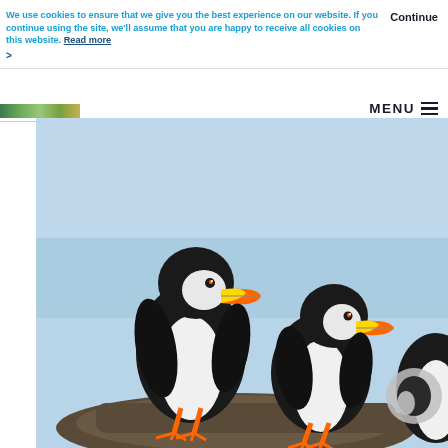We use cookies to ensure that we give you the best experience on our website. If you continue using the site, we'll assume that you are happy to receive all cookies on this website. Read more >
Continue
MENU ☰
[Figure (photo): Two Atlantic puffins standing on a rock against a blue sky, with a third puffin partially visible at the right edge. The puffins have black and white plumage with distinctive colorful orange-yellow beaks.]